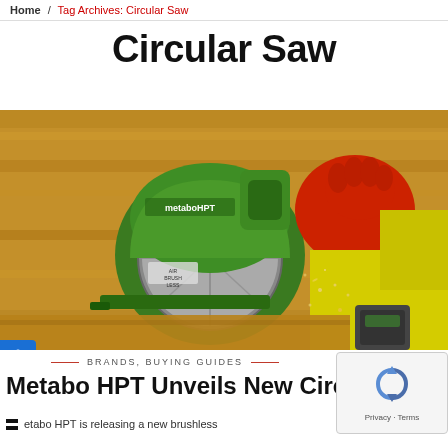Home / Tag Archives: Circular Saw
Circular Saw
[Figure (photo): Close-up photo of a green Metabo HPT brushless circular saw cutting through lumber, with sawdust flying. Worker wearing red gloves and yellow vest visible in background.]
BRANDS, BUYING GUIDES
Metabo HPT Unveils New Circular S...
...etabo HPT is releasing a new brushless...